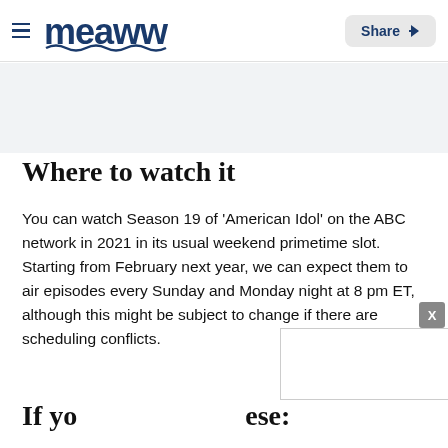meaww | Share
Where to watch it
You can watch Season 19 of 'American Idol' on the ABC network in 2021 in its usual weekend primetime slot. Starting from February next year, we can expect them to air episodes every Sunday and Monday night at 8 pm ET, although this might be subject to change if there are scheduling conflicts.
If yo…ese: